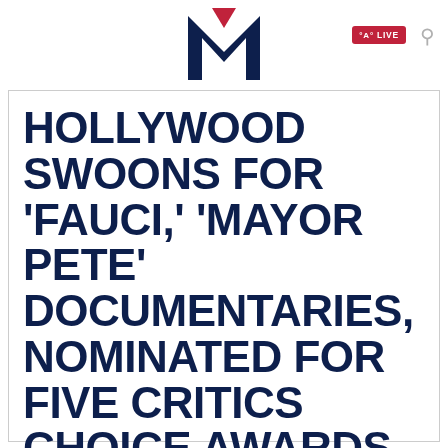[Figure (logo): Mediaite logo: large dark navy M with red inverted triangle/chevron accent on top center]
LIVE
HOLLYWOOD SWOONS FOR 'FAUCI,' 'MAYOR PETE' DOCUMENTARIES, NOMINATED FOR FIVE CRITICS CHOICE AWARDS